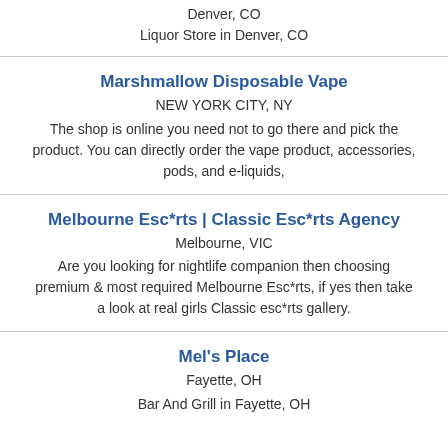Denver, CO
Liquor Store in Denver, CO
Marshmallow Disposable Vape
NEW YORK CITY, NY
The shop is online you need not to go there and pick the product. You can directly order the vape product, accessories, pods, and e-liquids,
Melbourne Esc*rts | Classic Esc*rts Agency
Melbourne, VIC
Are you looking for nightlife companion then choosing premium & most required Melbourne Esc*rts, if yes then take a look at real girls Classic esc*rts gallery.
Mel's Place
Fayette, OH
Bar And Grill in Fayette, OH